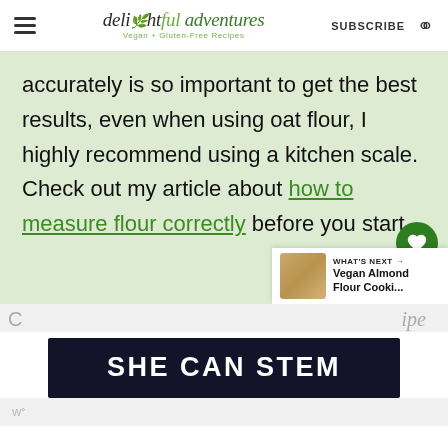delightful adventures Vegan + Gluten-Free Recipes | SUBSCRIBE
accurately is so important to get the best results, even when using oat flour, I highly recommend using a kitchen scale. Check out my article about how to measure flour correctly before you start.
WHAT'S NEXT → Vegan Almond Flour Cooki...
[Figure (screenshot): SHE CAN STEM advertisement banner in dark navy background with white bold text]
C                                                    ipe